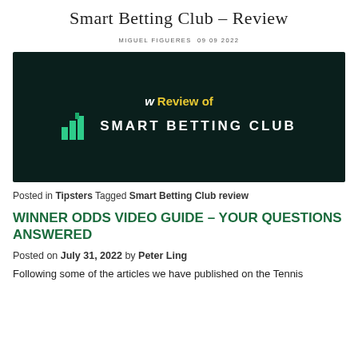Smart Betting Club – Review
MIGUEL FIGUERES  09 09 2022
[Figure (illustration): Dark green/black banner image with 'Review of' in yellow and white text, and 'SMART BETTING CLUB' logo in white with green bar chart icon]
Posted in Tipsters Tagged Smart Betting Club review
WINNER ODDS VIDEO GUIDE – YOUR QUESTIONS ANSWERED
Posted on July 31, 2022 by Peter Ling
Following some of the articles we have published on the Tennis